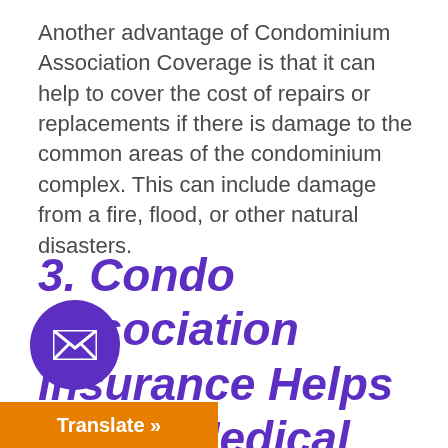Another advantage of Condominium Association Coverage is that it can help to cover the cost of repairs or replacements if there is damage to the common areas of the condominium complex. This can include damage from a fire, flood, or other natural disasters.
3. Condo Association Insurance Helps Cover Medical Expenses